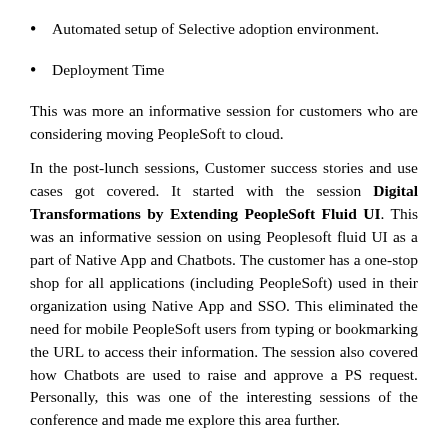Automated setup of Selective adoption environment.
Deployment Time
This was more an informative session for customers who are considering moving PeopleSoft to cloud.
In the post-lunch sessions, Customer success stories and use cases got covered. It started with the session Digital Transformations by Extending PeopleSoft Fluid UI. This was an informative session on using Peoplesoft fluid UI as a part of Native App and Chatbots. The customer has a one-stop shop for all applications (including PeopleSoft) used in their organization using Native App and SSO. This eliminated the need for mobile PeopleSoft users from typing or bookmarking the URL to access their information. The session also covered how Chatbots are used to raise and approve a PS request. Personally, this was one of the interesting sessions of the conference and made me explore this area further.
The following session Case Study on usage of Peoplesoft PTF by HAYS helped in understanding their success on selective adoption and how they have efficiently used PTF for testing their agile delivery model. PTF has helped in reducing the amount of testing time required